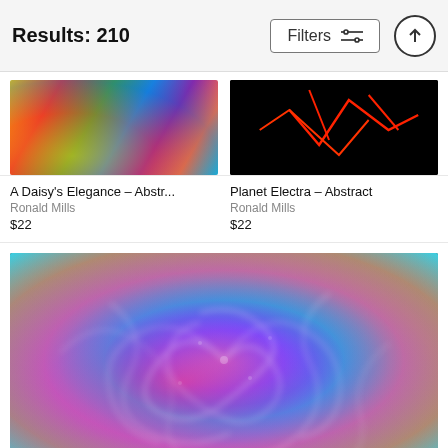Results: 210
A Daisy's Elegance - Abstr...
Ronald Mills
$22
Planet Electra - Abstract
Ronald Mills
$22
[Figure (photo): Abstract colorful swirling digital art — vibrant teal, purple, pink, orange and white swirl pattern converging toward center]
[Figure (photo): Artwork thumbnail: A Daisy's Elegance – colorful feather/daisy abstract]
[Figure (photo): Artwork thumbnail: Planet Electra – red glowing lines on black background]